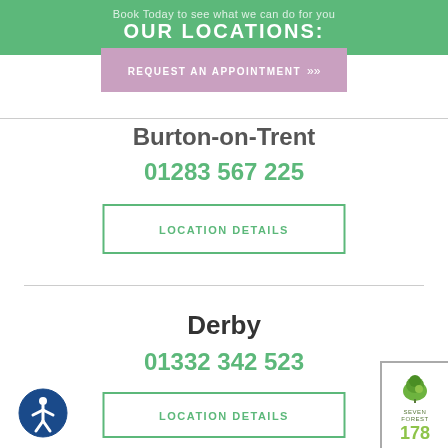Book Today to see what we can do for you
OUR LOCATIONS:
REQUEST AN APPOINTMENT >>
Burton-on-Trent
01283 567 225
LOCATION DETAILS
Derby
01332 342 523
LOCATION DETAILS